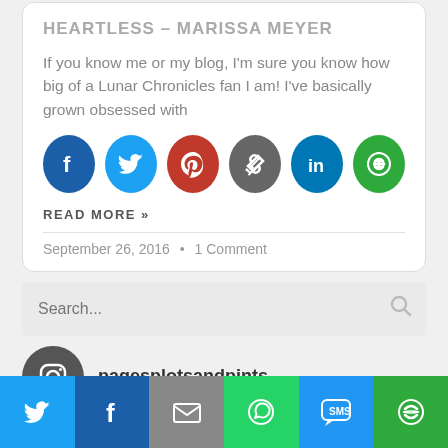HEARTLESS – MARISSA MEYER
If you know me or my blog, I'm sure you know how big of a Lunar Chronicles fan I am! I've basically grown obsessed with
[Figure (other): Social share icons: Facebook (blue), Twitter (light blue), Pinterest (red), Link/copy (gray), LinkedIn (dark blue), More/share (green)]
READ MORE »
September 26, 2016  •  1 Comment
[Figure (other): Search bar with placeholder text 'Search...' and a search icon on the right]
[Figure (other): Instagram circle icon (dark gray) followed by the text 'pagesplotsandpints']
[Figure (other): Bottom share bar with 6 buttons: Twitter (blue bird), Facebook (white f on dark blue), Email (envelope on gray), WhatsApp (phone on green), SMS (speech bubble on blue), More/share (green)]